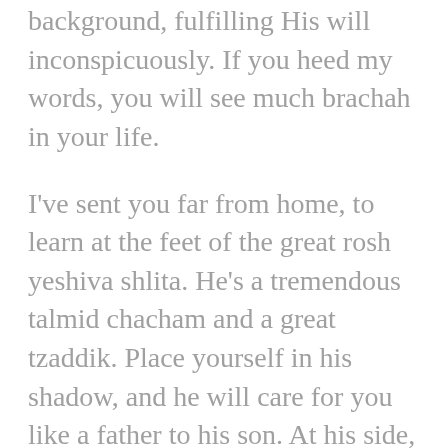background, fulfilling His will inconspicuously. If you heed my words, you will see much brachah in your life.
I've sent you far from home, to learn at the feet of the great rosh yeshiva shlita. He's a tremendous talmid chacham and a great tzaddik. Place yourself in his shadow, and he will care for you like a father to his son. At his side, you will grow and reach tremendous heights.
May Hashem be with you always.